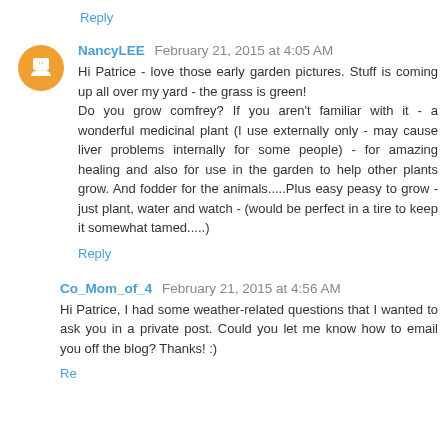Reply
NancyLEE  February 21, 2015 at 4:05 AM
Hi Patrice - love those early garden pictures. Stuff is coming up all over my yard - the grass is green!
Do you grow comfrey? If you aren't familiar with it - a wonderful medicinal plant (I use externally only - may cause liver problems internally for some people) - for amazing healing and also for use in the garden to help other plants grow. And fodder for the animals.....Plus easy peasy to grow - just plant, water and watch - (would be perfect in a tire to keep it somewhat tamed.....)
Reply
Co_Mom_of_4  February 21, 2015 at 4:56 AM
Hi Patrice, I had some weather-related questions that I wanted to ask you in a private post. Could you let me know how to email you off the blog? Thanks! :)